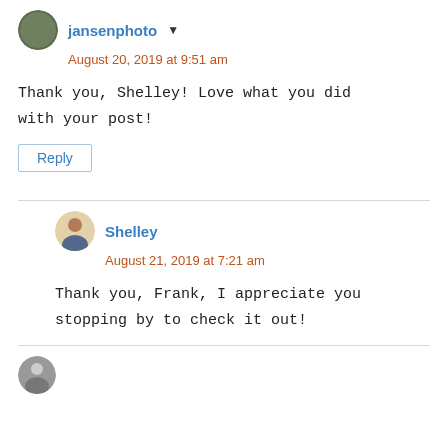jansenphoto (admin)
August 20, 2019 at 9:51 am
Thank you, Shelley! Love what you did with your post!
Reply
Shelley
August 21, 2019 at 7:21 am
Thank you, Frank, I appreciate you stopping by to check it out!